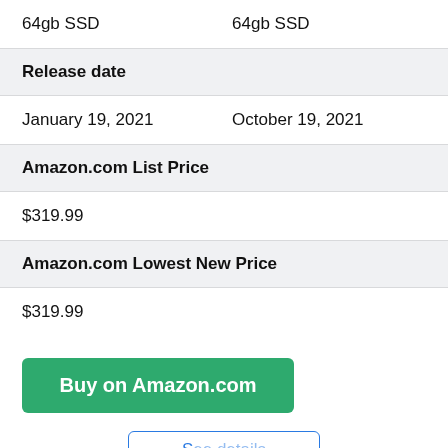64gb SSD	64gb SSD
Release date
January 19, 2021	October 19, 2021
Amazon.com List Price
$319.99
Amazon.com Lowest New Price
$319.99
Buy on Amazon.com